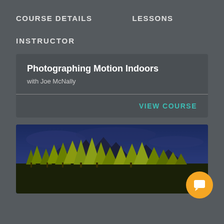COURSE DETAILS    LESSONS
INSTRUCTOR
Photographing Motion Indoors
with Joe McNally
VIEW COURSE
[Figure (photo): Landscape photo showing tall evergreen trees in foreground with mountain peaks behind them under a dramatic blue cloudy sky]